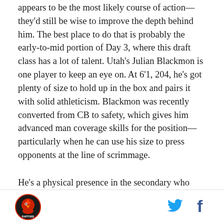appears to be the most likely course of action—they'd still be wise to improve the depth behind him. The best place to do that is probably the early-to-mid portion of Day 3, where this draft class has a lot of talent. Utah's Julian Blackmon is one player to keep an eye on. At 6'1, 204, he's got plenty of size to hold up in the box and pairs it with solid athleticism. Blackmon was recently converted from CB to safety, which gives him advanced man coverage skills for the position—particularly when he can use his size to press opponents at the line of scrimmage.
He's a physical presence in the secondary who brings strong tackling and a nasty attitude to run defense. Blackmon lacks experience and feel in zone coverage,
[Figure (logo): Raptors logo — red hawk mascot in circular badge]
[Figure (logo): Twitter bird icon in blue]
[Figure (logo): Facebook 'f' icon in dark blue]